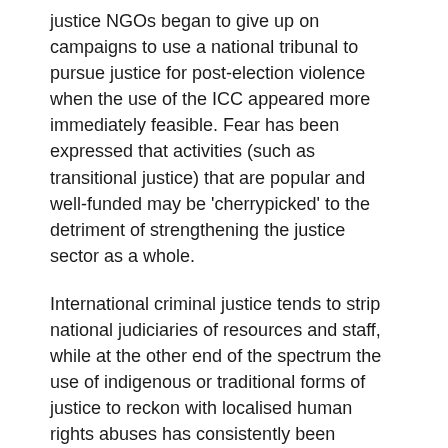justice NGOs began to give up on campaigns to use a national tribunal to pursue justice for post-election violence when the use of the ICC appeared more immediately feasible. Fear has been expressed that activities (such as transitional justice) that are popular and well-funded may be 'cherrypicked' to the detriment of strengthening the justice sector as a whole.
International criminal justice tends to strip national judiciaries of resources and staff, while at the other end of the spectrum the use of indigenous or traditional forms of justice to reckon with localised human rights abuses has consistently been isolated from on-going process of integrating these informal mechanisms into the state justice system.